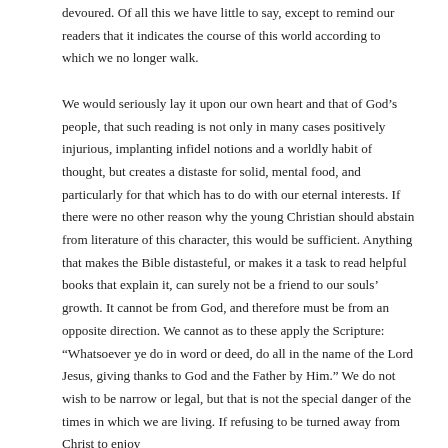devoured. Of all this we have little to say, except to remind our readers that it indicates the course of this world according to which we no longer walk.

We would seriously lay it upon our own heart and that of God's people, that such reading is not only in many cases positively injurious, implanting infidel notions and a worldly habit of thought, but creates a distaste for solid, mental food, and particularly for that which has to do with our eternal interests. If there were no other reason why the young Christian should abstain from literature of this character, this would be sufficient. Anything that makes the Bible distasteful, or makes it a task to read helpful books that explain it, can surely not be a friend to our souls' growth. It cannot be from God, and therefore must be from an opposite direction. We cannot as to these apply the Scripture: “Whatsoever ye do in word or deed, do all in the name of the Lord Jesus, giving thanks to God and the Father by Him.” We do not wish to be narrow or legal, but that is not the special danger of the times in which we are living. If refusing to be turned away from Christ to enjoy